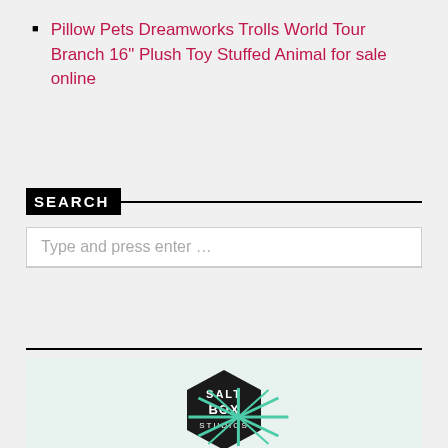Pillow Pets Dreamworks Trolls World Tour Branch 16" Plush Toy Stuffed Animal for sale online
SEARCH
Type and press enter …
[Figure (logo): Salt Box Studios logo — a hexagonal badge with white text reading SALT BOX STUDIOS on a dark background, with a teal/green starburst design below]